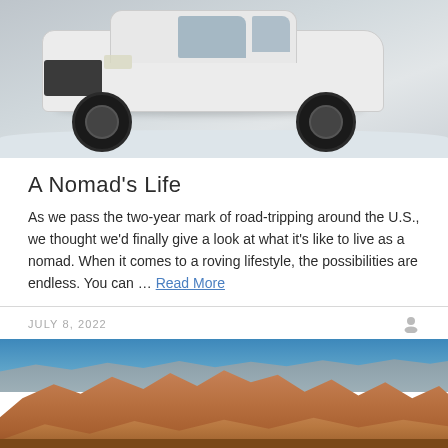[Figure (photo): White SUV/crossover vehicle photographed on snow-covered ground, shot from a front-angle view showing the vehicle's front grille, wheels, and roof against a wintry background.]
A Nomad's Life
As we pass the two-year mark of road-tripping around the U.S., we thought we'd finally give a look at what it's like to live as a nomad. When it comes to a roving lifestyle, the possibilities are endless. You can … Read More
JULY 8, 2022
[Figure (photo): Landscape photo of red and orange sandstone rock formations under a bright blue sky, resembling desert terrain in the American Southwest.]